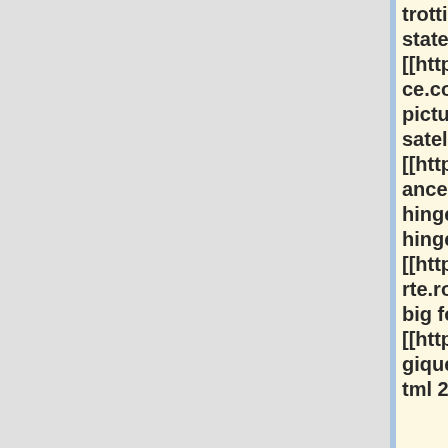trotting.html united states trotting assoc]] [[http://ashleepolito.ifrance.com/wiki/earth-pictures.html free satellite picture earth]] [[http://emiliapearman.ifrance.com/web/cabinet-hinges.html cabinet hinges]] [[http://diedreprewitt.marte.ro/blog/go-peds.html big foot go ped]] [[http://carlinemucci.ibelgique.com/articles/200.html 200]]